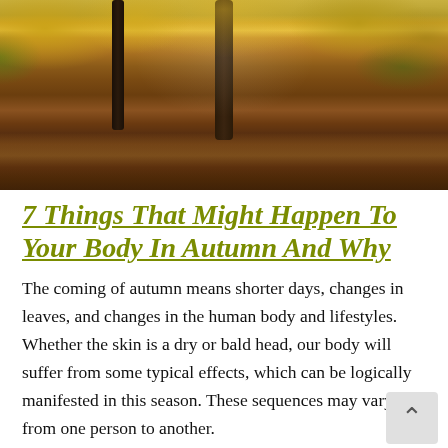[Figure (photo): Autumn forest path with fallen orange and red leaves covering the ground, tall trees with yellow and green foliage, sunlight filtering through branches.]
7 Things That Might Happen To Your Body In Autumn And Why
The coming of autumn means shorter days, changes in leaves, and changes in the human body and lifestyles. Whether the skin is a dry or bald head, our body will suffer from some typical effects, which can be logically manifested in this season. These sequences may vary from one person to another.